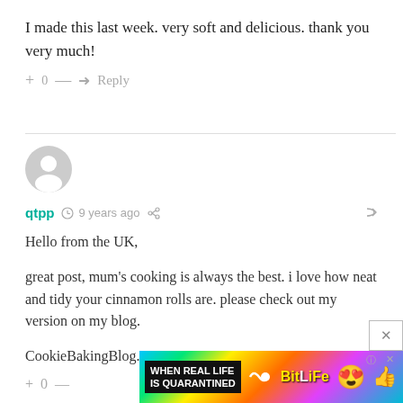I made this last week. very soft and delicious. thank you very much!
+ 0 — ➜ Reply
[Figure (other): Horizontal divider line]
[Figure (other): User avatar - generic grey silhouette circle]
qtpp  9 years ago
Hello from the UK,
great post, mum's cooking is always the best. i love how neat and tidy your cinnamon rolls are. please check out my version on my blog.
CookieBakingBlog.com
[Figure (screenshot): BitLife advertisement banner: 'WHEN REAL LIFE IS QUARANTINED' with colorful rainbow background and emoji characters]